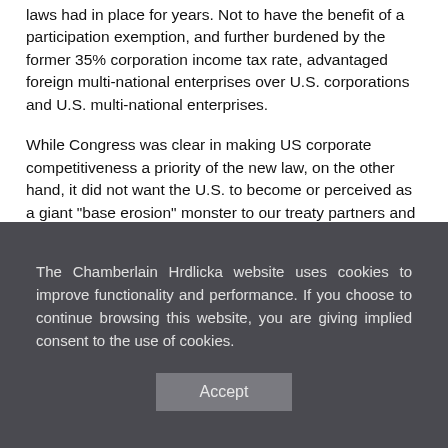laws had in place for years. Not to have the benefit of a participation exemption, and further burdened by the former 35% corporation income tax rate, advantaged foreign multi-national enterprises over U.S. corporations and U.S. multi-national enterprises.
While Congress was clear in making US corporate competitiveness a priority of the new law, on the other hand, it did not want the U.S. to become or perceived as a giant "base erosion" monster to our treaty partners and other countries where substantial US investment has been made.
The Chamberlain Hrdlicka website uses cookies to improve functionality and performance. If you choose to continue browsing this website, you are giving implied consent to the use of cookies.
Accept